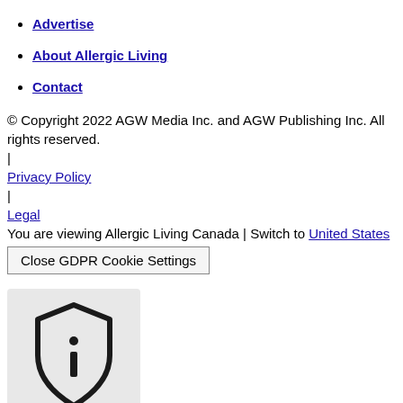Advertise
About Allergic Living
Contact
© Copyright 2022 AGW Media Inc. and AGW Publishing Inc. All rights reserved.
|
Privacy Policy
|
Legal
You are viewing Allergic Living Canada | Switch to United States
Close GDPR Cookie Settings
[Figure (illustration): Shield icon with an 'i' (information) symbol inside, rendered in dark color on a light gray background box]